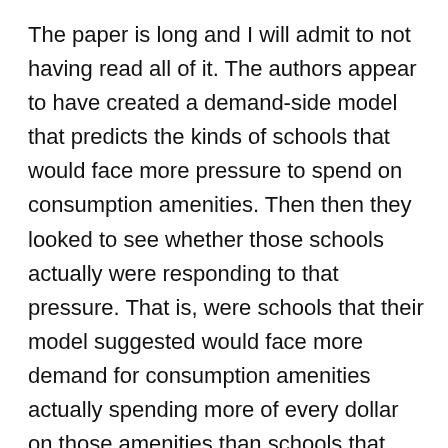The paper is long and I will admit to not having read all of it. The authors appear to have created a demand-side model that predicts the kinds of schools that would face more pressure to spend on consumption amenities. Then then they looked to see whether those schools actually were responding to that pressure. That is, were schools that their model suggested would face more demand for consumption amenities actually spending more of every dollar on those amenities than schools that their model suggested would not face as much demand? And the answer is yes.